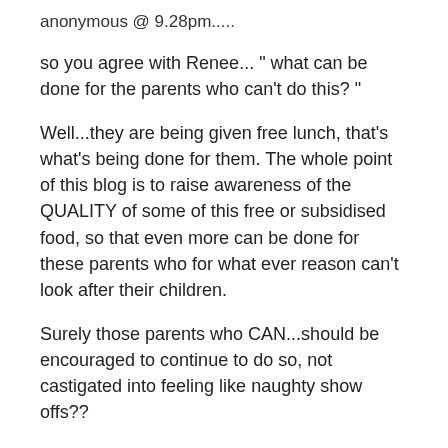anonymous @ 9.28pm.....
so you agree with Renee... " what can be done for the parents who can't do this? "
Well...they are being given free lunch, that's what's being done for them. The whole point of this blog is to raise awareness of the QUALITY of some of this free or subsidised food, so that even more can be done for these parents who for what ever reason can't look after their children.
Surely those parents who CAN...should be encouraged to continue to do so, not castigated into feeling like naughty show offs??
I have commented on Renee's intial post before, and while I think everyone has a total right to their opinion, this is one point of view that I am having a hard time with.